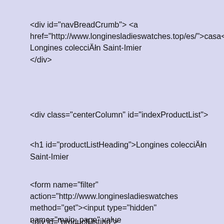<div id="navBreadCrumb"> <a href="http://www.longinesladieswatches.top/es/">casa</a>&nb Longines colecciÄłn Saint-Imier </div>
<div class="centerColumn" id="indexProductList">
<h1 id="productListHeading">Longines colecciÄłn Saint-Imier
<form name="filter" action="http://www.longinesladieswatches method="get"><input type="hidden" name="main_page" value type="hidden" name="cPath" value="12" /><input type="hidde value="20a" /></form> <br class="clearBoth" />
<div id="productListing">